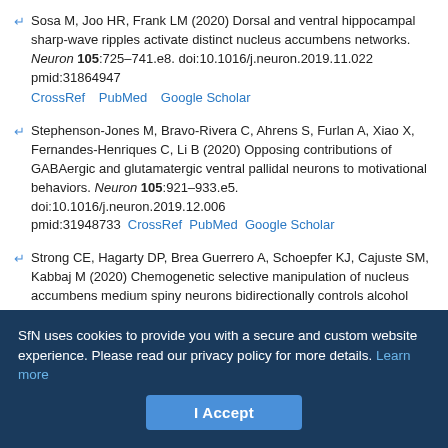Sosa M, Joo HR, Frank LM (2020) Dorsal and ventral hippocampal sharp-wave ripples activate distinct nucleus accumbens networks. Neuron 105:725–741.e8. doi:10.1016/j.neuron.2019.11.022 pmid:31864947 CrossRef PubMed Google Scholar
Stephenson-Jones M, Bravo-Rivera C, Ahrens S, Furlan A, Xiao X, Fernandes-Henriques C, Li B (2020) Opposing contributions of GABAergic and glutamatergic ventral pallidal neurons to motivational behaviors. Neuron 105:921–933.e5. doi:10.1016/j.neuron.2019.12.006 pmid:31948733 CrossRef PubMed Google Scholar
Strong CE, Hagarty DP, Brea Guerrero A, Schoepfer KJ, Cajuste SM, Kabbaj M (2020) Chemogenetic selective manipulation of nucleus accumbens medium spiny neurons bidirectionally controls alcohol intake in male and female rats. Sci Rep 10:19178. doi:10.1038/s41598-020-76183-2 pmid:33154463 CrossRef PubMed Google Scholar
SfN uses cookies to provide you with a secure and custom website experience. Please read our privacy policy for more details. Learn more